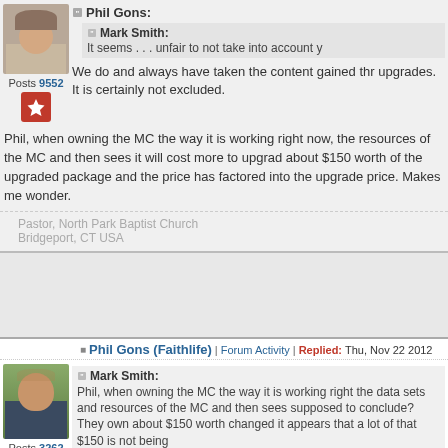Phil Gons:
Mark Smith: It seems . . . unfair to not take into account y
We do and always have taken the content gained thr upgrades. It is certainly not excluded.
Phil, when owning the MC the way it is working right now, the resources of the MC and then sees it will cost more to upgrad about $150 worth of the upgraded package and the price has factored into the upgrade price. Makes me wonder.
Posts 9552
Pastor, North Park Baptist Church
Bridgeport, CT USA
Phil Gons (Faithlife) | Forum Activity | Replied: Thu, Nov 22 2012
Posts 3262
Mark Smith: Phil, when owning the MC the way it is working right the data sets and resources of the MC and then sees supposed to conclude? They own about $150 worth changed it appears that a lot of that $150 is not being
(1) The change in tiered discount structure accounts for the in
(2) You're not going to get $150 worth of your MC purchase